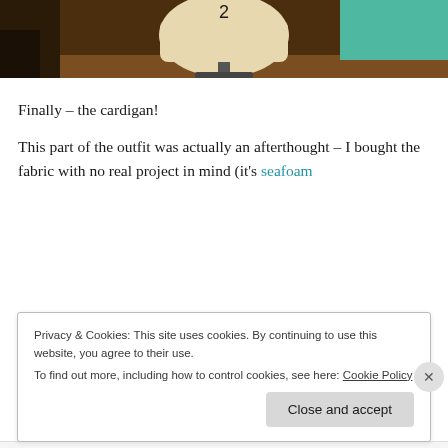[Figure (photo): Photo of a dressmaker's dress form/mannequin with the number 2 on it, standing on a metal stand, in a room with wooden floor. Only the top portion (torso area up) is visible. Background includes dark wooden furniture and a teal/green wall.]
Finally – the cardigan!
This part of the outfit was actually an afterthought – I bought the fabric with no real project in mind (it's seafoam
Privacy & Cookies: This site uses cookies. By continuing to use this website, you agree to their use.
To find out more, including how to control cookies, see here: Cookie Policy
Close and accept